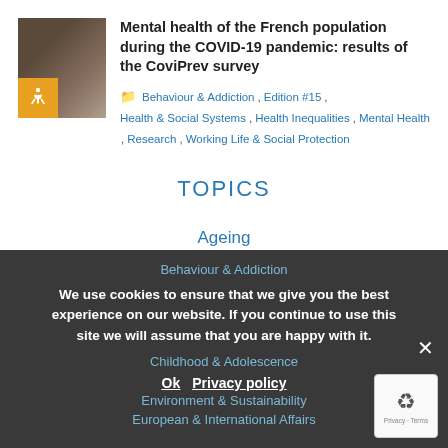[Figure (photo): Thumbnail image of a building/sign with an orange accessibility badge in the bottom left corner]
Mental health of the French population during the COVID-19 pandemic: results of the CoviPrev survey
Behaviour & Addiction , Edition #15 , Health & Social Systems , Health Inequalities , Mental Health , Research , Working Life & Social Protection
TOPICS
Ageing
Behaviour & Addiction
We use cookies to ensure that we give you the best experience on our website. If you continue to use this site we will assume that you are happy with it.
Childhood & Adolescence
Environment & Sustainability
Ok
Privacy policy
European & International Affairs